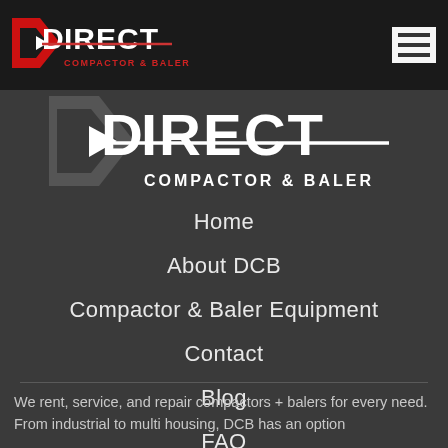[Figure (logo): Direct Compactor & Baler logo in top navigation bar]
[Figure (logo): Large Direct Compactor & Baler logo in white on dark gray background]
Home
About DCB
Compactor & Baler Equipment
Contact
Blog
FAQ
We rent, service, and repair compactors + balers for every need. From industrial to multi housing, DCB has an option